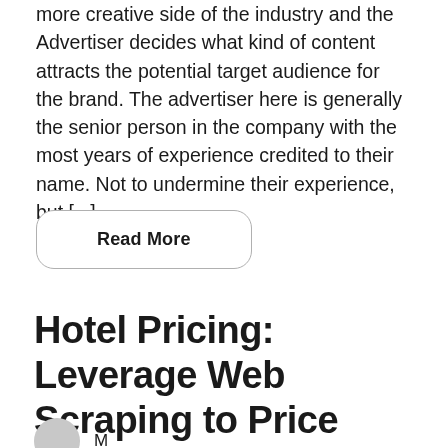more creative side of the industry and the Advertiser decides what kind of content attracts the potential target audience for the brand. The advertiser here is generally the senior person in the company with the most years of experience credited to their name. Not to undermine their experience, but [...]
Read More
Hotel Pricing: Leverage Web Scraping to Price your Hotel Right
[Figure (illustration): Author avatar circle, partially visible at bottom of page]